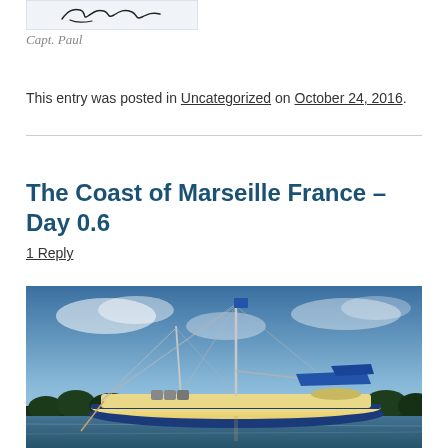[Figure (other): Handwritten signature in a light blue/grey box]
Capt. Paul
This entry was posted in Uncategorized on October 24, 2016.
The Coast of Marseille France – Day 0.6
1 Reply
[Figure (photo): Photo of a blue and white sailboat on water with trees in background and blue sky with clouds]